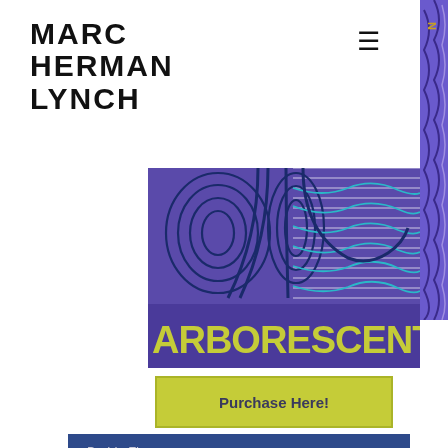MARC HERMAN LYNCH
[Figure (illustration): Hamburger menu icon (three horizontal lines) in the upper right area]
[Figure (illustration): Vertical decorative purple and dark blue swirling side strip on the far right]
[Figure (illustration): Book cover for Arborescent by Marc Herman Lynch — abstract topographic contour line art in purple, blue and teal, with 'ARBORESCENT' in large yellow-green bold text on a purple banner at the bottom]
Purchase Here!
Prairie Fire
You Will Find It ...